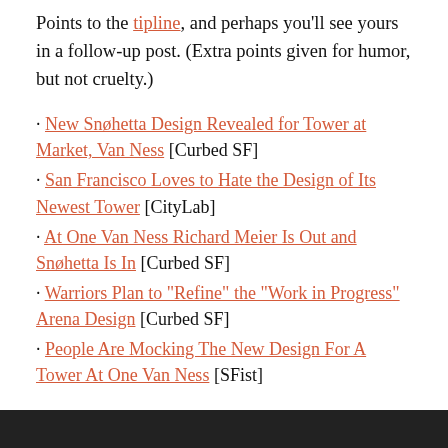Points to the tipline, and perhaps you'll see yours in a follow-up post. (Extra points given for humor, but not cruelty.)
· New Snøhetta Design Revealed for Tower at Market, Van Ness [Curbed SF]
· San Francisco Loves to Hate the Design of Its Newest Tower [CityLab]
· At One Van Ness Richard Meier Is Out and Snøhetta Is In [Curbed SF]
· Warriors Plan to "Refine" the "Work in Progress" Arena Design [Curbed SF]
· People Are Mocking The New Design For A Tower At One Van Ness [SFist]
[Figure (photo): Dark image strip at the bottom of the page, partially visible]